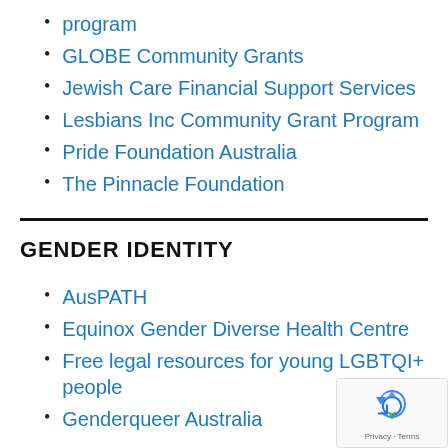program
GLOBE Community Grants
Jewish Care Financial Support Services
Lesbians Inc Community Grant Program
Pride Foundation Australia
The Pinnacle Foundation
GENDER IDENTITY
AusPATH
Equinox Gender Diverse Health Centre
Free legal resources for young LGBTQI+ people
Genderqueer Australia